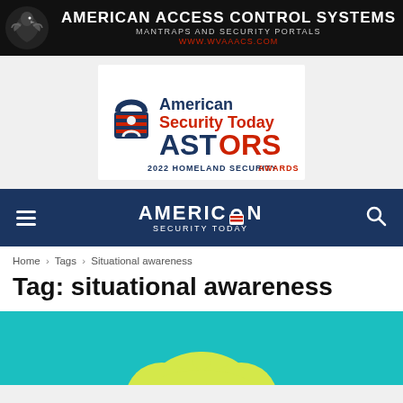[Figure (logo): American Access Control Systems banner with eagle logo, white text 'AMERICAN ACCESS CONTROL SYSTEMS', subtitle 'MANTRAPS AND SECURITY PORTALS', red URL 'WWW.WVAAACS.COM' on black background]
[Figure (logo): American Security Today ASTORS 2022 Homeland Security Awards logo with padlock graphic]
[Figure (logo): American Security Today navigation bar with hamburger menu, logo with lock icon, and search icon on dark navy background]
Home › Tags › Situational awareness
Tag: situational awareness
[Figure (illustration): Teal/cyan background with yellow cloud and figure graphics, partially visible at bottom]